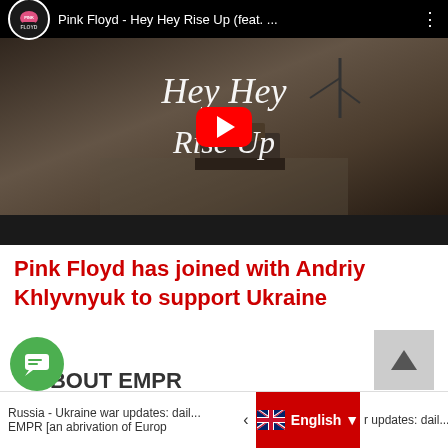[Figure (screenshot): YouTube video thumbnail for 'Pink Floyd - Hey Hey Rise Up (feat. ...)' showing handwritten-style text 'Hey Hey Rise Up' over a black and white photo of military vehicles on a road. Red YouTube play button in center.]
Pink Floyd has joined with Andriy Khlyvnyuk to support Ukraine
1
ABOUT EMPR
Russia - Ukraine war updates: dail... | English ▼ | r updates: dail... | EMPR [an abrivation of Europ